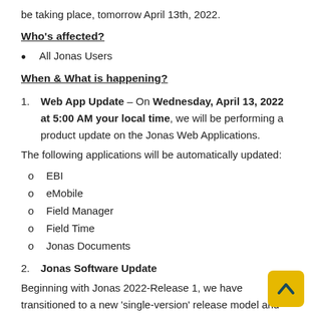be taking place, tomorrow April 13th, 2022.
Who's affected?
All Jonas Users
When & What is happening?
1. Web App Update – On Wednesday, April 13, 2022 at 5:00 AM your local time, we will be performing a product update on the Jonas Web Applications.
The following applications will be automatically updated:
EBI
eMobile
Field Manager
Field Time
Jonas Documents
2. Jonas Software Update
Beginning with Jonas 2022-Release 1, we have transitioned to a new 'single-version' release model and Jonas 2021 has been replaced with Jonas 2022-Release 1. Our 2022 release schedule includes four releases, with each new